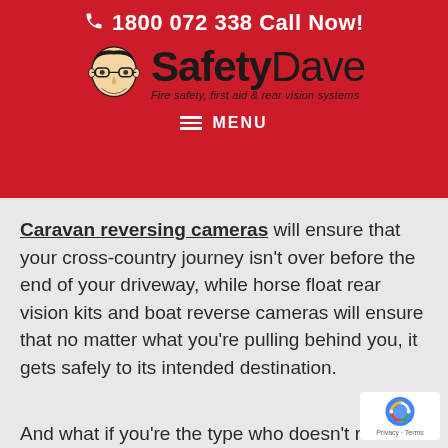1800 072 338 Call Now!
[Figure (logo): Safety Dave logo — cartoon face of a man with glasses next to bold text 'SafetyDave' with tagline 'Fire safety, first aid & rear vision systems']
MENU
Caravan reversing cameras will ensure that your cross-country journey isn't over before the end of your driveway, while horse float rear vision kits and boat reverse cameras will ensure that no matter what you're pulling behind you, it gets safely to its intended destination.
And what if you're the type who doesn't really…